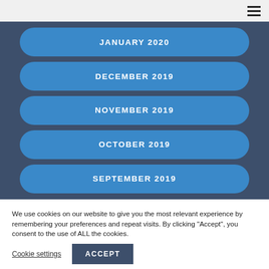☰ menu
JANUARY 2020
DECEMBER 2019
NOVEMBER 2019
OCTOBER 2019
SEPTEMBER 2019
We use cookies on our website to give you the most relevant experience by remembering your preferences and repeat visits. By clicking "Accept", you consent to the use of ALL the cookies.
Cookie settings   ACCEPT